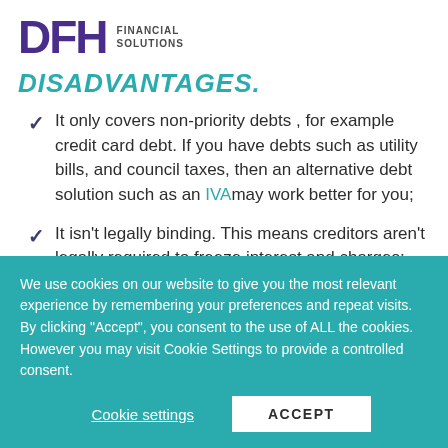[Figure (logo): DFH Financial Solutions logo — bold purple DFH letters with 'FINANCIAL SOLUTIONS' text to the right]
DISADVANTAGES.
It only covers non-priority debts , for example credit card debt. If you have debts such as utility bills, and council taxes, then an alternative debt solution such as an IVAmay work better for you;
It isn't legally binding. This means creditors aren't legally required to freeze interest and charges;
We use cookies on our website to give you the most relevant experience by remembering your preferences and repeat visits. By clicking "Accept", you consent to the use of ALL the cookies. However you may visit Cookie Settings to provide a controlled consent.